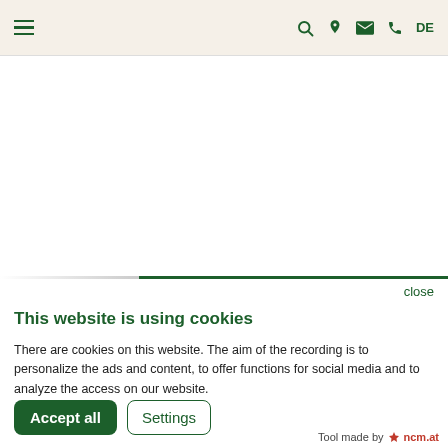Navigation bar with hamburger menu, search, location, mail, phone icons, and DE language selector
[Figure (screenshot): Website content area (partially visible, mostly white/blank)]
close
This website is using cookies
There are cookies on this website. The aim of the recording is to personalize the ads and content, to offer functions for social media and to analyze the access on our website.
Accept all   Settings
Tool made by ncm.at